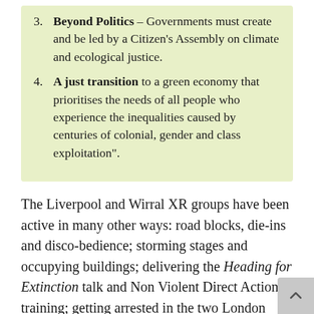3. Beyond Politics – Governments must create and be led by a Citizen's Assembly on climate and ecological justice.
4. A just transition to a green economy that prioritises the needs of all people who experience the inequalities caused by centuries of colonial, gender and class exploitation".
The Liverpool and Wirral XR groups have been active in many other ways: road blocks, die-ins and disco-bedience; storming stages and occupying buildings; delivering the Heading for Extinction talk and Non Violent Direct Action training; getting arrested in the two London rebellions; supporting local campaigns (Youth strike, Save Oglet shore, Flat Iron, Rimrose Valley, Riverside Drive etc) and national campaigns (Stop HS2, Frack-Free Lancashire, Keep Cumbrian Coal